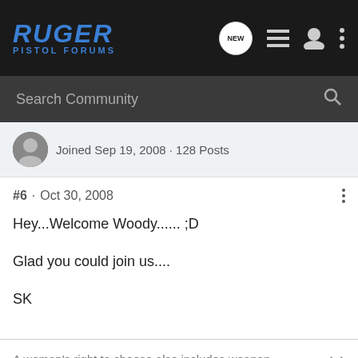[Figure (logo): Ruger Pistol Forums logo with blue italic text on dark background]
Search Community
Joined Sep 19, 2008 · 128 Posts
#6 · Oct 30, 2008
Hey...Welcome Woody...... ;D

Glad you could join us....

SK
A woman's right to choose also includes weapon, magazine capacity and ammunition.